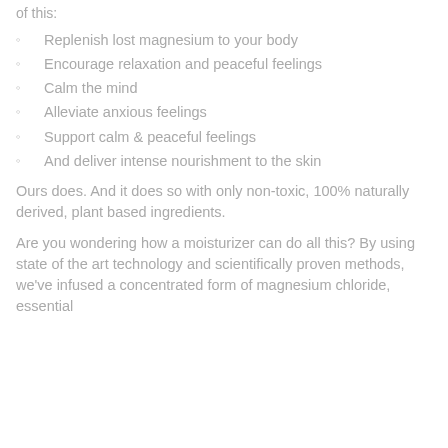of this:
Replenish lost magnesium to your body
Encourage relaxation and peaceful feelings
Calm the mind
Alleviate anxious feelings
Support calm & peaceful feelings
And deliver intense nourishment to the skin
Ours does. And it does so with only non-toxic, 100% naturally derived, plant based ingredients.
Are you wondering how a moisturizer can do all this? By using state of the art technology and scientifically proven methods, we've infused a concentrated form of magnesium chloride, essential